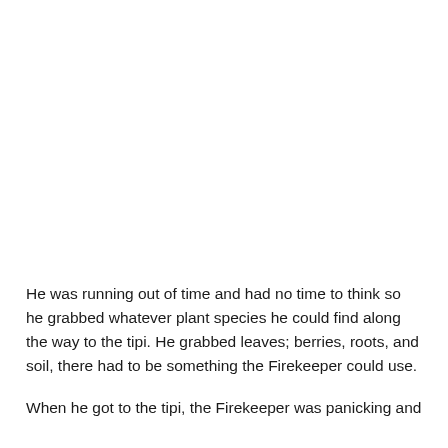He was running out of time and had no time to think so he grabbed whatever plant species he could find along the way to the tipi. He grabbed leaves; berries, roots, and soil, there had to be something the Firekeeper could use.
When he got to the tipi, the Firekeeper was panicking and